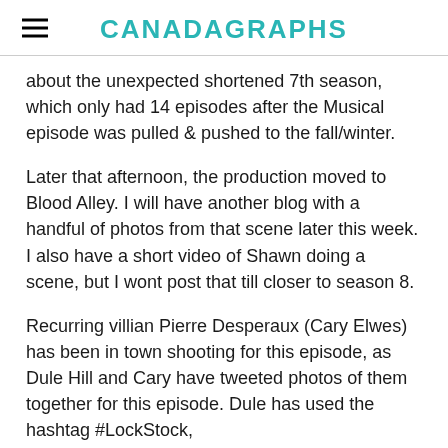CANADAGRAPHS
about the unexpected shortened 7th season, which only had 14 episodes after the Musical episode was pulled & pushed to the fall/winter.
Later that afternoon, the production moved to Blood Alley. I will have another blog with a handful of photos from that scene later this week. I also have a short video of Shawn doing a scene, but I wont post that till closer to season 8.
Recurring villian Pierre Desperaux (Cary Elwes) has been in town shooting for this episode, as Dule Hill and Cary have tweeted photos of them together for this episode. Dule has used the hashtag #LockStock,